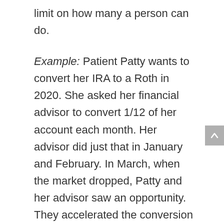limit on how many a person can do.
Example: Patient Patty wants to convert her IRA to a Roth in 2020. She asked her financial advisor to convert 1/12 of her account each month. Her advisor did just that in January and February. In March, when the market dropped, Patty and her advisor saw an opportunity. They accelerated the conversion process and did three months' worth of conversions in March alone. There are still limits...